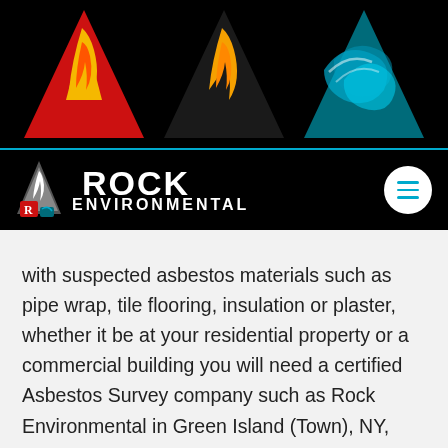[Figure (logo): Rock Environmental logo banner with three triangles: red triangle with fire and yellow flame, dark triangle with orange/yellow flame, teal/blue triangle with water swirl pattern, on a black background.]
[Figure (logo): Rock Environmental navigation bar with company logo (triangles with R letter), ROCK ENVIRONMENTAL text in white on black background, and a white circular hamburger menu button with cyan lines on the right.]
with suspected asbestos materials such as pipe wrap, tile flooring, insulation or plaster, whether it be at your residential property or a commercial building you will need a certified Asbestos Survey company such as Rock Environmental in Green Island (Town), NY, 12183 to asses the material before anything should be